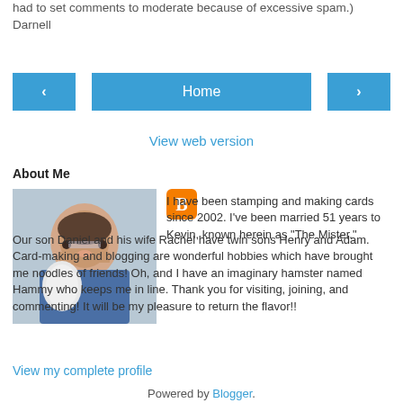had to set comments to moderate because of excessive spam.) Darnell
[Figure (other): Navigation bar with left arrow button, Home button, and right arrow button in blue]
View web version
About Me
[Figure (photo): Profile photo of a woman with short dark hair and glasses holding a small white dog, next to an orange Blogger icon]
I have been stamping and making cards since 2002. I've been married 51 years to Kevin, known herein as "The Mister." Our son Daniel and his wife Rachel have twin sons Henry and Adam. Card-making and blogging are wonderful hobbies which have brought me noodles of friends! Oh, and I have an imaginary hamster named Hammy who keeps me in line. Thank you for visiting, joining, and commenting! It will be my pleasure to return the flavor!!
View my complete profile
Powered by Blogger.